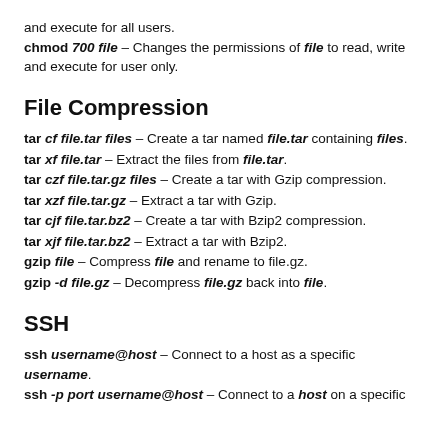and execute for all users.
chmod 700 file – Changes the permissions of file to read, write and execute for user only.
File Compression
tar cf file.tar files – Create a tar named file.tar containing files.
tar xf file.tar – Extract the files from file.tar.
tar czf file.tar.gz files – Create a tar with Gzip compression.
tar xzf file.tar.gz – Extract a tar with Gzip.
tar cjf file.tar.bz2 – Create a tar with Bzip2 compression.
tar xjf file.tar.bz2 – Extract a tar with Bzip2.
gzip file – Compress file and rename to file.gz.
gzip -d file.gz – Decompress file.gz back into file.
SSH
ssh username@host – Connect to a host as a specific username.
ssh -p port username@host – Connect to a host on a specific